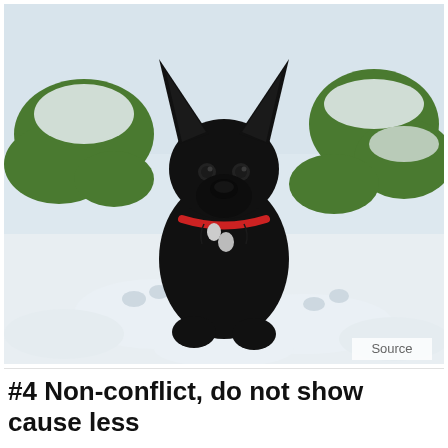[Figure (photo): A black German Shepherd puppy with large pointed ears sitting in snow, looking at the camera. The puppy has a red collar with tags. Background shows snow-covered grass with patches of green visible.]
Source
#4 Non-conflict, do not show cause less